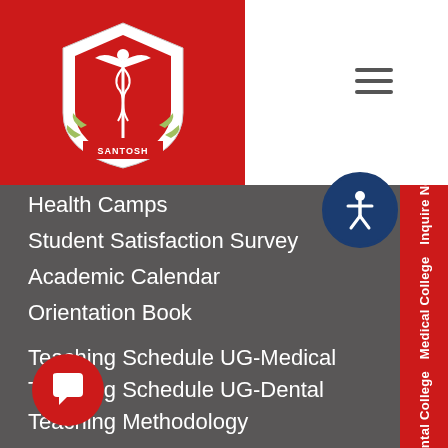[Figure (logo): Santosh University logo — shield with caduceus on red background]
Health Camps
Student Satisfaction Survey
Academic Calendar
Orientation Book
Teaching Schedule UG-Medical
Teaching Schedule UG-Dental
Teaching Methodology
Link to paramedical courses
2023 Calendar
Dental College  Medical College  Inquire Now